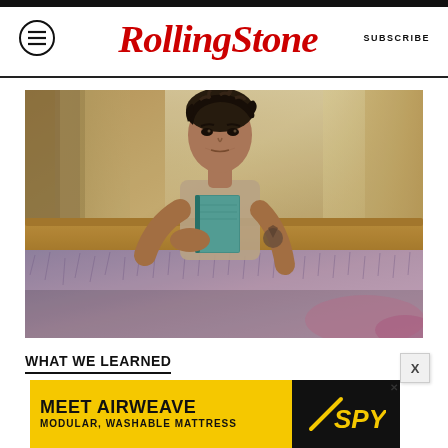Rolling Stone  SUBSCRIBE
[Figure (photo): A young man with dark tousled hair reclines on a couch holding a small teal book. He wears a knit sleeveless top and has tattoos on his arm. He is surrounded by a fluffy lavender/purple fur throw. The background shows warm light filtering through sheer curtains in what appears to be a hotel room or apartment.]
WHAT WE LEARNED
[Figure (other): Advertisement banner: MEET AIRWEAVE / MODULAR, WASHABLE MATTRESS with SPY logo]